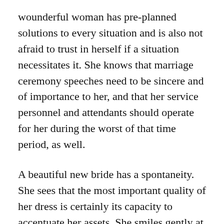wounderful woman has pre-planned solutions to every situation and is also not afraid to trust in herself if a situation necessitates it. She knows that marriage ceremony speeches need to be sincere and of importance to her, and that her service personnel and attendants should operate for her during the worst of that time period, as well.
A beautiful new bride has a spontaneity. She sees that the most important quality of her dress is certainly its capacity to accentuate her assets. She smiles gently at her guests, and has a completely happy and flexible smile on her behalf husband-to-be. Her friends and family members will be her nearest confidants and